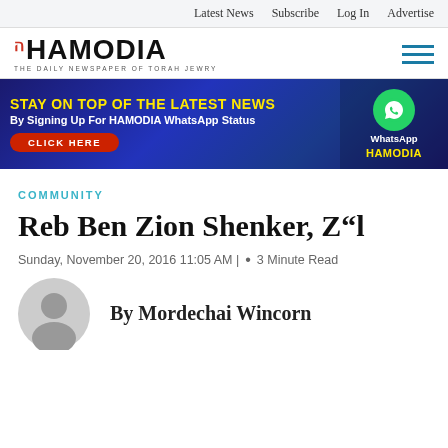Latest News  Subscribe  Log In  Advertise
[Figure (logo): Hamodia newspaper logo with Hebrew letter and tagline 'THE DAILY NEWSPAPER OF TORAH JEWRY']
[Figure (infographic): Banner ad: STAY ON TOP OF THE LATEST NEWS By Signing Up For HAMODIA WhatsApp Status CLICK HERE, with WhatsApp icon and HAMODIA branding on right]
COMMUNITY
Reb Ben Zion Shenker, Z"l
Sunday, November 20, 2016 11:05 AM |  •  3 Minute Read
By Mordechai Wincorn